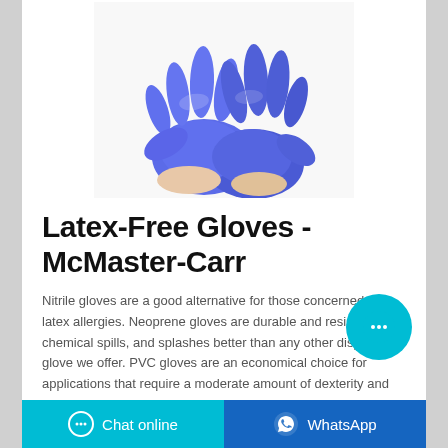[Figure (photo): Two hands wearing bright blue nitrile/latex-free disposable gloves against a white background, fingers spread upward.]
Latex-Free Gloves - McMaster-Carr
Nitrile gloves are a good alternative for those concerned with latex allergies. Neoprene gloves are durable and resist tears, chemical spills, and splashes better than any other disposable glove we offer. PVC gloves are an economical choice for applications that require a moderate amount of dexterity and durability.
Chat online | WhatsApp